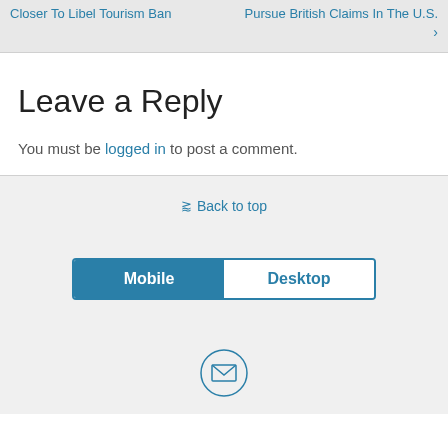Closer To Libel Tourism Ban | Pursue British Claims In The U.S. ›
Leave a Reply
You must be logged in to post a comment.
⇑ Back to top
[Figure (other): Mobile/Desktop toggle bar with Mobile selected (blue background) and Desktop unselected]
[Figure (other): Email/envelope icon in a circle]